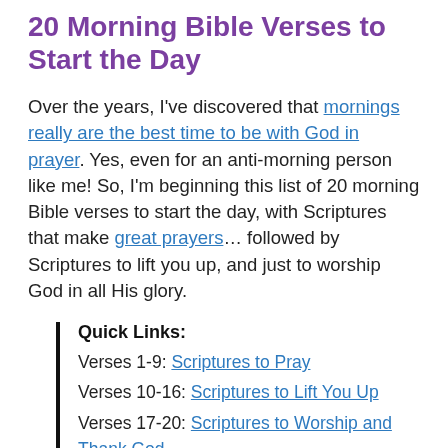20 Morning Bible Verses to Start the Day
Over the years, I've discovered that mornings really are the best time to be with God in prayer. Yes, even for an anti-morning person like me! So, I'm beginning this list of 20 morning Bible verses to start the day, with Scriptures that make great prayers… followed by Scriptures to lift you up, and just to worship God in all His glory.
Quick Links:
Verses 1-9: Scriptures to Pray
Verses 10-16: Scriptures to Lift You Up
Verses 17-20: Scriptures to Worship and Thank God